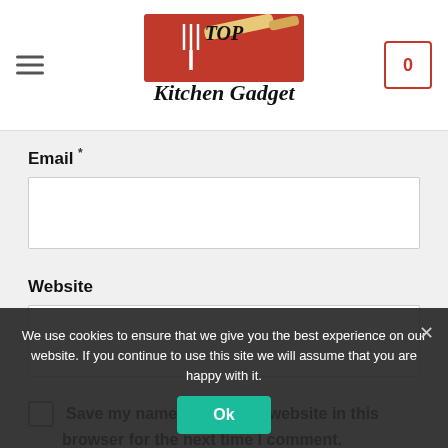[Figure (logo): Top Kitchen Gadget logo with orange background, fork/knife graphic, and stylized text]
Email *
Website
Save my name, email, and website in this browser for the next time I comment.
POST COMMENT
We use cookies to ensure that we give you the best experience on our website. If you continue to use this site we will assume that you are happy with it.
Ok